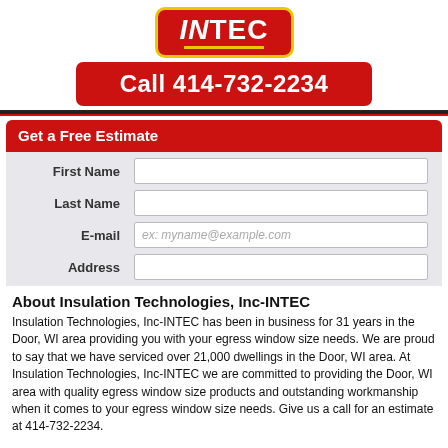[Figure (logo): INTEC logo — red rounded rectangle with yellow border, white text 'INTEC' with yellow underline bar]
Call 414-732-2234
Get a Free Estimate
First Name
Last Name
E-mail
Address
About Insulation Technologies, Inc-INTEC
Insulation Technologies, Inc-INTEC has been in business for 31 years in the Door, WI area providing you with your egress window size needs. We are proud to say that we have serviced over 21,000 dwellings in the Door, WI area. At Insulation Technologies, Inc-INTEC we are committed to providing the Door, WI area with quality egress window size products and outstanding workmanship when it comes to your egress window size needs. Give us a call for an estimate at 414-732-2234.